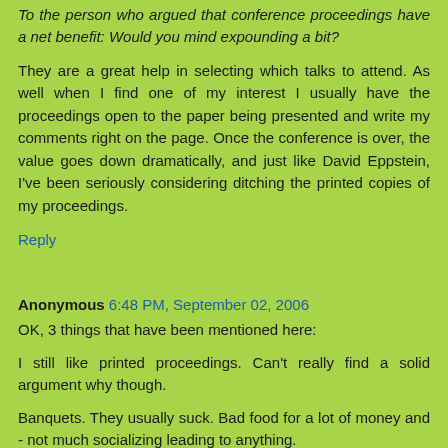To the person who argued that conference proceedings have a net benefit: Would you mind expounding a bit?
They are a great help in selecting which talks to attend. As well when I find one of my interest I usually have the proceedings open to the paper being presented and write my comments right on the page. Once the conference is over, the value goes down dramatically, and just like David Eppstein, I've been seriously considering ditching the printed copies of my proceedings.
Reply
Anonymous 6:48 PM, September 02, 2006
OK, 3 things that have been mentioned here:
I still like printed proceedings. Can't really find a solid argument why though.
Banquets. They usually suck. Bad food for a lot of money and - not much socializing leading to anything.